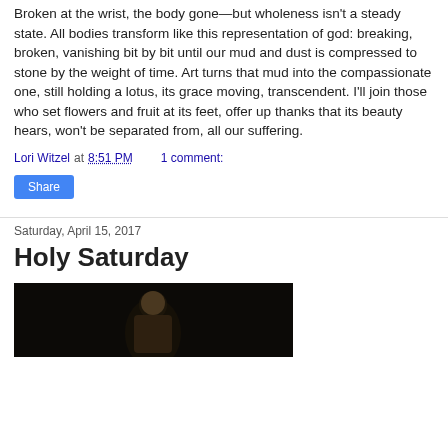Broken at the wrist, the body gone—but wholeness isn't a steady state. All bodies transform like this representation of god: breaking, broken, vanishing bit by bit until our mud and dust is compressed to stone by the weight of time. Art turns that mud into the compassionate one, still holding a lotus, its grace moving, transcendent. I'll join those who set flowers and fruit at its feet, offer up thanks that its beauty hears, won't be separated from, all our suffering.
Lori Witzel at 8:51 PM   1 comment:
Share
Saturday, April 15, 2017
Holy Saturday
[Figure (photo): Dark painting showing a figure, appears to be a religious or classical artwork with dark background]